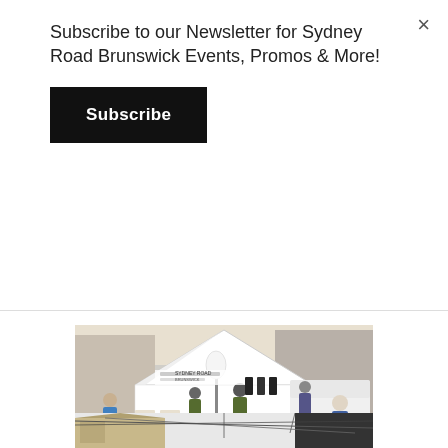×
Subscribe to our Newsletter for Sydney Road Brunswick Events, Promos & More!
Subscribe
[Figure (photo): Outdoor market stall with a white tent canopy branded Sydney Road Brunswick, featuring mannequins displaying black t-shirts, a red-covered table with merchandise, staff in camouflage shirts, shoppers, and a white van in the background on a sunny day.]
[Figure (photo): Partial view of a street scene showing old stone buildings and overhead tram wires against a bright sky.]